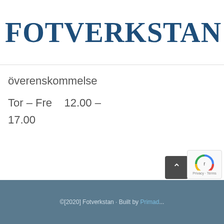[Figure (logo): Fotverkstan logo with large bold serif text and a foot icon with horizontal lines (menu icon) to the right]
överenskommelse
Tor – Fre    12.00 –
17.00
©[2020] Fotverkstan · Built by Primad...